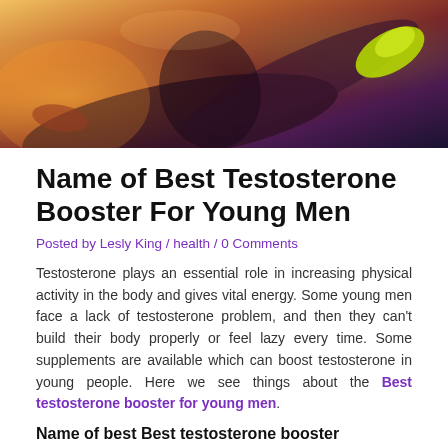[Figure (photo): Woman in athletic wear stretching leg, wearing bright green/yellow sneakers, warm orange-toned background]
Name of Best Testosterone Booster For Young Men
Posted by Lesly King / health / 0 Comments
Testosterone plays an essential role in increasing physical activity in the body and gives vital energy. Some young men face a lack of testosterone problem, and then they can't build their body properly or feel lazy every time. Some supplements are available which can boost testosterone in young people. Here we see things about the Best testosterone booster for young men.
Name of best Best testosterone booster
Testoprime: It's the choice of many people because it works in different activities in the body. All ingredients